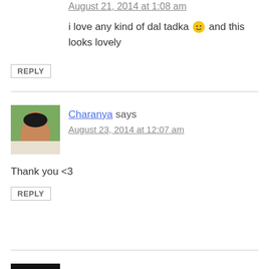August 21, 2014 at 1:08 am
i love any kind of dal tadka 🙂 and this looks lovely
REPLY
[Figure (photo): Profile photo of Charanya - woman smiling outdoors]
Charanya says
August 23, 2014 at 12:07 am
Thank you <3
REPLY
[Figure (photo): Profile photo showing candle/flame icon on dark background]
food passion and love says